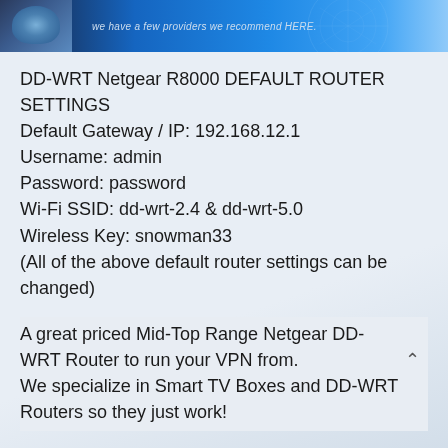[Figure (illustration): Banner with a stylized human face/head on the left and a blue network/technology background with the text 'we have a few providers we recommend HERE.' on the right.]
DD-WRT Netgear R8000 DEFAULT ROUTER SETTINGS
Default Gateway / IP: 192.168.12.1
Username: admin
Password: password
Wi-Fi SSID: dd-wrt-2.4 & dd-wrt-5.0
Wireless Key: snowman33
(All of the above default router settings can be changed)
A great priced Mid-Top Range Netgear DD-WRT Router to run your VPN from.
We specialize in Smart TV Boxes and DD-WRT Routers so they just work!